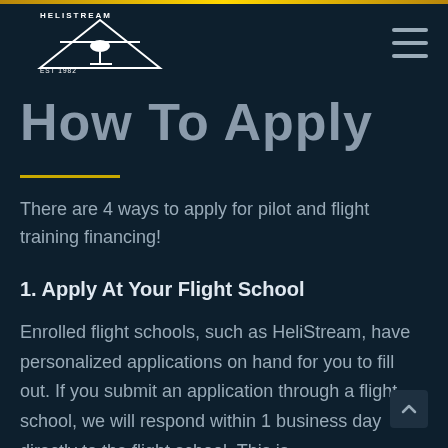HELISTREAM EST 1982
How To Apply
There are 4 ways to apply for pilot and flight training financing!
1. Apply At Your Flight School
Enrolled flight schools, such as HeliStream, have personalized applications on hand for you to fill out. If you submit an application through a flight school, we will respond within 1 business day directly to the flight school. This is